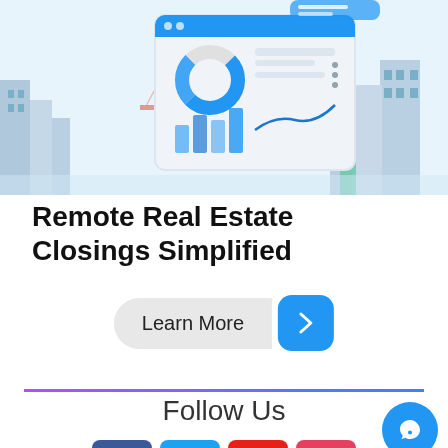[Figure (illustration): Illustration of a city skyline with Golden Gate Bridge and a digital dashboard/tablet showing charts and data, representing remote real estate closings]
Remote Real Estate Closings Simplified
[Figure (other): Learn More button with blue arrow chevron button]
[Figure (other): Horizontal divider line with purple-to-blue gradient]
Follow Us
[Figure (other): Social media icons row: Facebook, Twitter, YouTube, Instagram]
[Figure (other): Blue circular chat/support button in bottom right corner]